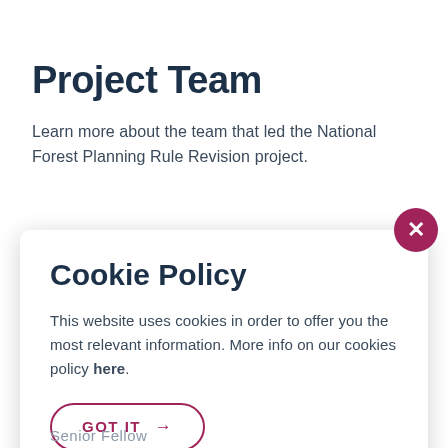Project Team
Learn more about the team that led the National Forest Planning Rule Revision project.
Cookie Policy
This website uses cookies in order to offer you the most relevant information. More info on our cookies policy here.
GOT IT →
Senior Fellow